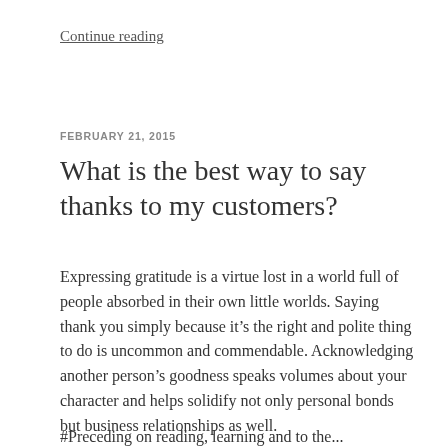Continue reading
FEBRUARY 21, 2015
What is the best way to say thanks to my customers?
Expressing gratitude is a virtue lost in a world full of people absorbed in their own little worlds. Saying thank you simply because it’s the right and polite thing to do is uncommon and commendable. Acknowledging another person’s goodness speaks volumes about your character and helps solidify not only personal bonds but business relationships as well.
#Preceding on reading, learning and to the...